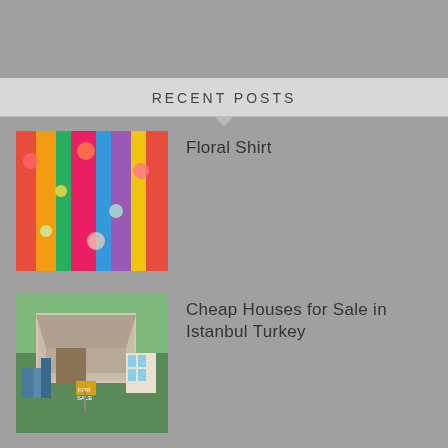RECENT POSTS
Floral Shirt
Cheap Houses for Sale in Istanbul Turkey
The Green Job Market: Where Do You Fit In